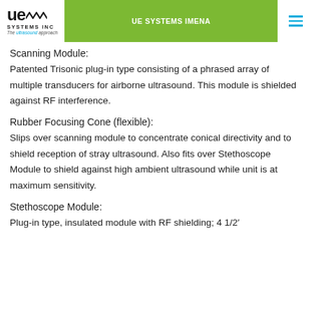UE SYSTEMS IMENA
Scanning Module:
Patented Trisonic plug-in type consisting of a phrased array of multiple transducers for airborne ultrasound. This module is shielded against RF interference.
Rubber Focusing Cone (flexible):
Slips over scanning module to concentrate conical directivity and to shield reception of stray ultrasound. Also fits over Stethoscope Module to shield against high ambient ultrasound while unit is at maximum sensitivity.
Stethoscope Module:
Plug-in type, insulated module with RF shielding; 4 1/2′